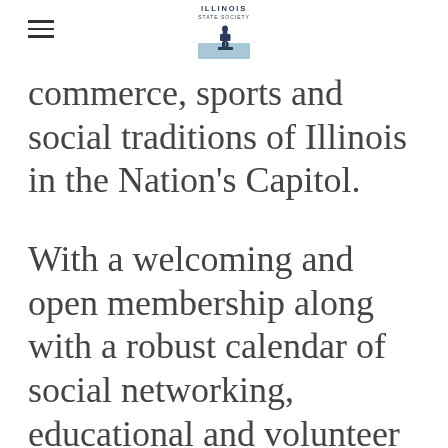ILLINOIS STATE SOCIETY
commerce, sports and social traditions of Illinois in the Nation's Capitol.
With a welcoming and open membership along with a robust calendar of social networking, educational and volunteer activities throughout the year, The ILSS has a proud heritage since 1854 of being the oldest and first state society in Washington, D.C.